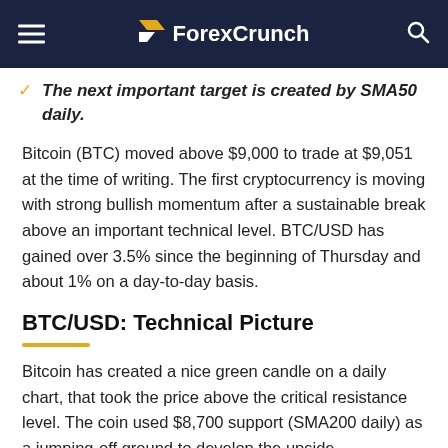ForexCrunch
The next important target is created by SMA50 daily.
Bitcoin (BTC) moved above $9,000 to trade at $9,051 at the time of writing. The first cryptocurrency is moving with strong bullish momentum after a sustainable break above an important technical level. BTC/USD has gained over 3.5% since the beginning of Thursday and about 1% on a day-to-day basis.
BTC/USD: Technical Picture
Bitcoin has created a nice green candle on a daily chart, that took the price above the critical resistance level. The coin used $8,700 support (SMA200 daily) as a jumping-off ground to develop the upside momentum, which is now gaining traction. The next bullish barrier now comes at